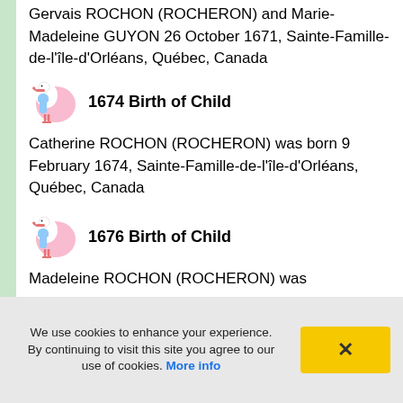Gervais ROCHON (ROCHERON) and Marie-Madeleine GUYON 26 October 1671, Sainte-Famille-de-l'île-d'Orléans, Québec, Canada
[Figure (illustration): Stork carrying baby bundle, pink and blue cartoon illustration]
1674 Birth of Child
Catherine ROCHON (ROCHERON) was born 9 February 1674, Sainte-Famille-de-l'île-d'Orléans, Québec, Canada
[Figure (illustration): Stork carrying baby bundle, pink and blue cartoon illustration]
1676 Birth of Child
Madeleine ROCHON (ROCHERON) was
We use cookies to enhance your experience. By continuing to visit this site you agree to our use of cookies. More info